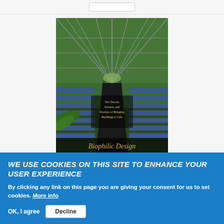[Figure (photo): Book cover of 'Biophilic Design' showing the interior of a glass chapel with blue pews, surrounded by trees and nature, with text overlay reading 'The Theory, Science, and Practice of Bringing Buildings to Life' and 'Biophilic Design' at the bottom.]
BIOPHILIC DESIGN
WE USE COOKIES ON THIS SITE TO ENHANCE YOUR USER EXPERIENCE
By clicking any link on this page you are giving your consent for us to set cookies. More info
OK, I agree   Decline